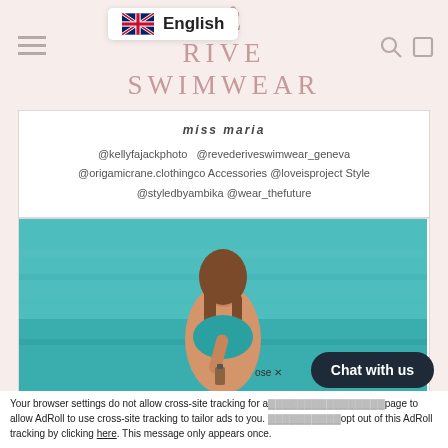[Figure (screenshot): Rêve Rive Swimwear website header with logo in rose/pink color, hamburger menu on left, search and cart icons on right, and English language selector overlay with UK flag]
miss maria
@kellyfajackphoto @revederiveswimwear_geneva @origamicrane.clothingco Accessories @loveisproject Style @styledbyambika @wear_thefuture
[Figure (photo): Woman in teal/turquoise swimwear holding a small bottle, standing near turquoise water, long brown hair, looking down at the bottle]
Chat with us
ose ✕
Your browser settings do not allow cross-site tracking for a page to allow AdRoll to use cross-site tracking to tailor ads to you. Learn more or opt out of this AdRoll tracking by clicking here. This message only appears once.